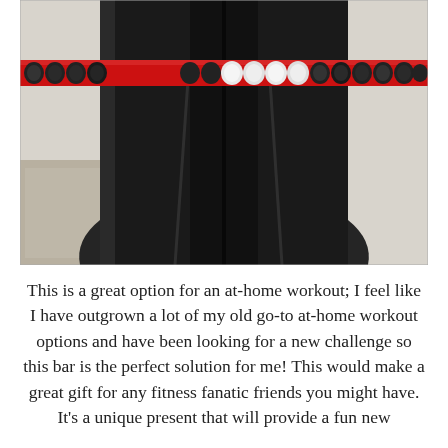[Figure (photo): Close-up photo of a black gymnastics/fitness balance beam or bar with a red horizontal bar crossing it, decorated with alternating black and white beads or ornaments along the red bar. The black structure has two vertical legs visible with a gap in the middle, photographed against a light background with a patterned rug visible.]
This is a great option for an at-home workout; I feel like I have outgrown a lot of my old go-to at-home workout options and have been looking for a new challenge so this bar is the perfect solution for me! This would make a great gift for any fitness fanatic friends you might have. It's a unique present that will provide a fun new